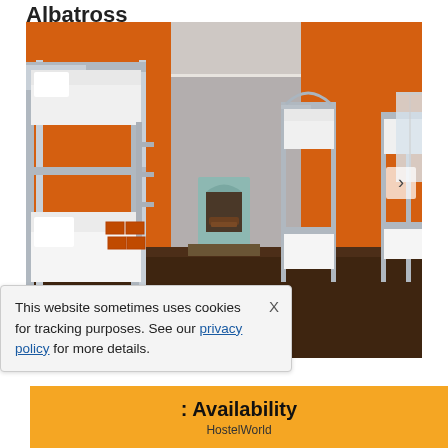Albatross
[Figure (photo): Interior photo of a hostel dorm room with orange and gray walls, multiple metal bunk beds with white bedding, a decorative fireplace in the center background, and dark wood flooring. A navigation arrow is visible on the right side of the image.]
This website sometimes uses cookies for tracking purposes. See our privacy policy for more details.
Availability
HostelWorld